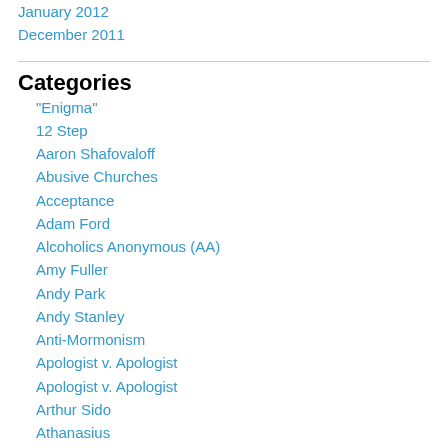January 2012
December 2011
Categories
"Enigma"
12 Step
Aaron Shafovaloff
Abusive Churches
Acceptance
Adam Ford
Alcoholics Anonymous (AA)
Amy Fuller
Andy Park
Andy Stanley
Anti-Mormonism
Apologist v. Apologist
Apologist v. Apologist
Arthur Sido
Athanasius